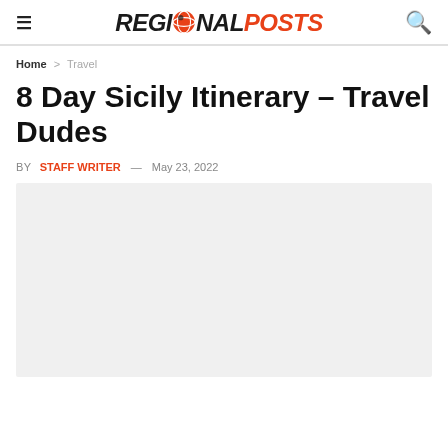REGIONAL POSTS
Home > Travel
8 Day Sicily Itinerary – Travel Dudes
BY STAFF WRITER — May 23, 2022
[Figure (other): Light gray placeholder rectangle for a featured image]